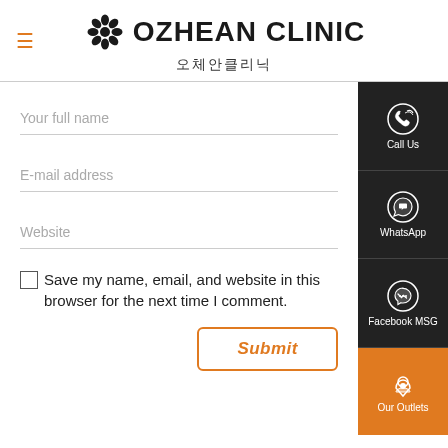OZHEAN CLINIC 오체안클리닉
Your full name
E-mail address
Website
Save my name, email, and website in this browser for the next time I comment.
Submit
Call Us
WhatsApp
Facebook MSG
Our Outlets